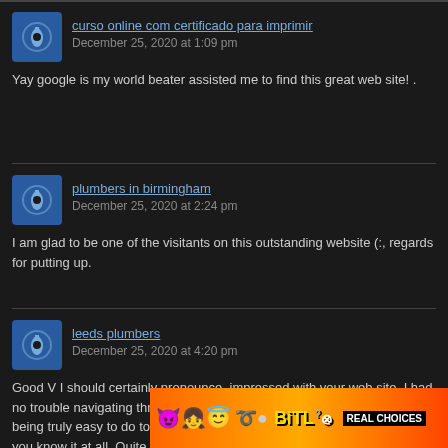curso online com certificado para imprimir
December 25, 2020 at 1:09 pm
Yay google is my world beater assisted me to find this great web site! .
plumbers in birmingham
December 25, 2020 at 2:24 pm
I am glad to be one of the visitants on this outstanding website (:, regards for putting up.
leeds plumbers
December 25, 2020 at 4:20 pm
Good V I should certainly pronounce, impressed with your web site. I had no trouble navigating through all the tabs as well as related info ended up being truly easy to do to access. I recently found what I hoped for before you know it at all. Quite unusual. Is likely to appreciate it for those who a[...] s or something, site theme.. a tones way for your client to communicate. Nice task..
[Figure (infographic): BitLife ad banner with emojis and Real Choices text]
Close X